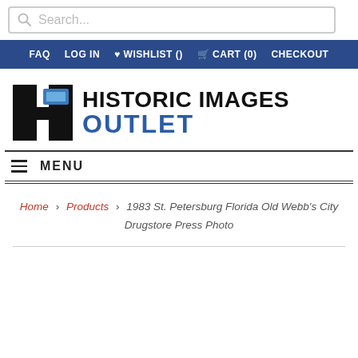[Figure (screenshot): Search bar with magnifying glass icon and placeholder text 'Search...']
FAQ  LOG IN  ♥ WISHLIST ()  🛒 CART (0)  CHECKOUT
[Figure (logo): Historic Images Outlet logo with stylized H icon and bold text 'HISTORIC IMAGES OUTLET']
≡ MENU
Home › Products › 1983 St. Petersburg Florida Old Webb's City Drugstore Press Photo